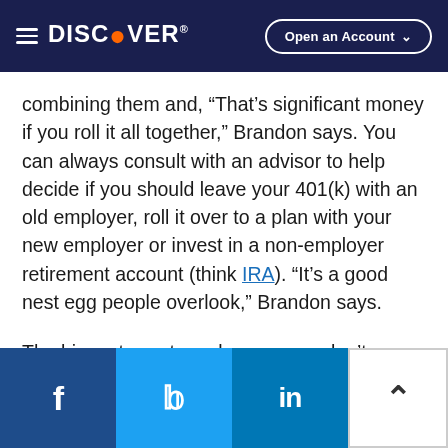DISCOVER | Open an Account
combining them and, “That’s significant money if you roll it all together,” Brandon says. You can always consult with an advisor to help decide if you should leave your 401(k) with an old employer, roll it over to a plan with your new employer or invest in a non-employer retirement account (think IRA). “It’s a good nest egg people overlook,” Brandon says.
The biggest way to make sure you don’t overlook your retirement money is pretty simple: Don’t forget about it. It’s surprisingly easier said than
f | Twitter | in | ↑